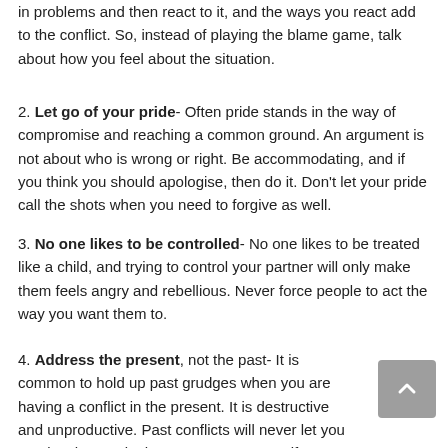in problems and then react to it, and the ways you react add to the conflict. So, instead of playing the blame game, talk about how you feel about the situation.
2. Let go of your pride- Often pride stands in the way of compromise and reaching a common ground. An argument is not about who is wrong or right. Be accommodating, and if you think you should apologise, then do it. Don't let your pride call the shots when you need to forgive as well.
3. No one likes to be controlled- No one likes to be treated like a child, and trying to control your partner will only make them feels angry and rebellious. Never force people to act the way you want them to.
4. Address the present, not the past- It is common to hold up past grudges when you are having a conflict in the present. It is destructive and unproductive. Past conflicts will never let you resolve the one in the present. However, if